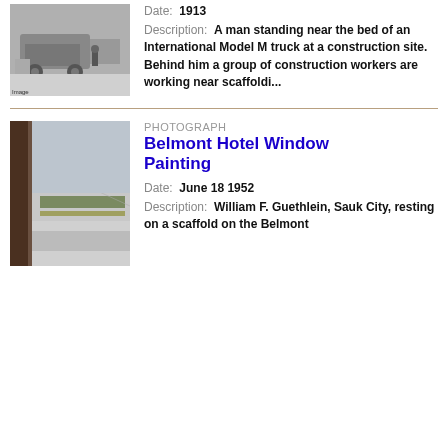[Figure (photo): Black and white photograph of a man standing near the bed of an International Model M truck at a construction site, 1913]
Date: 1913
Description: A man standing near the bed of an International Model M truck at a construction site. Behind him a group of construction workers are working near scaffoldi...
[Figure (photo): Black and white photograph looking down from the Belmont Hotel, showing a sidewalk and garden strip below, 1952]
Belmont Hotel Window Painting
Date: June 18 1952
Description: William F. Guethlein, Sauk City, resting on a scaffold on the Belmont